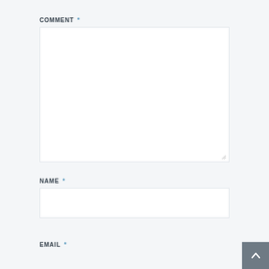COMMENT *
[Figure (other): Large empty comment textarea input field with resize handle at bottom right]
NAME *
[Figure (other): Single-line name text input field]
EMAIL *
[Figure (other): Back to top button with upward chevron arrow, grey background, bottom right corner]